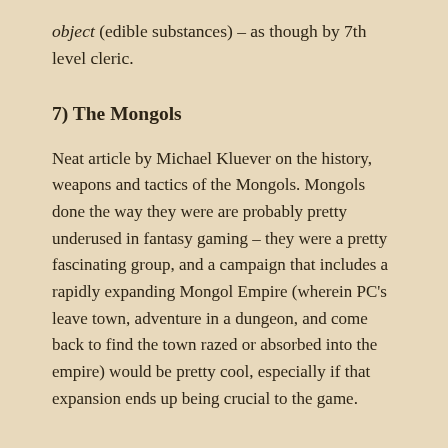object (edible substances) – as though by 7th level cleric.
7) The Mongols
Neat article by Michael Kluever on the history, weapons and tactics of the Mongols. Mongols done the way they were are probably pretty underused in fantasy gaming – they were a pretty fascinating group, and a campaign that includes a rapidly expanding Mongol Empire (wherein PC's leave town, adventure in a dungeon, and come back to find the town razed or absorbed into the empire) would be pretty cool, especially if that expansion ends up being crucial to the game.